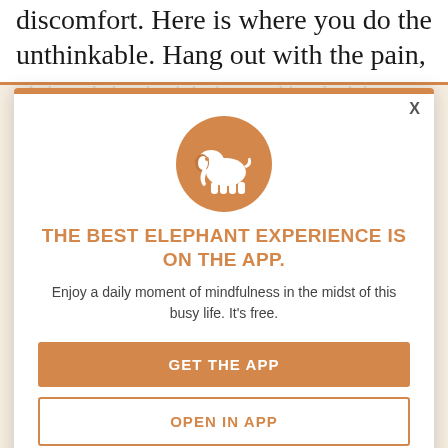discomfort. Here is where you do the unthinkable. Hang out with the pain,
[Figure (screenshot): App promotion modal overlay on a mindfulness website. Contains an orange elephant logo icon in a circle, bold orange headline 'THE BEST ELEPHANT EXPERIENCE IS ON THE APP.', subtitle text, and two buttons: 'GET THE APP' (filled orange) and 'OPEN IN APP' (outlined orange). Background shows faded article text.]
THE BEST ELEPHANT EXPERIENCE IS ON THE APP.
Enjoy a daily moment of mindfulness in the midst of this busy life. It's free.
GET THE APP
OPEN IN APP